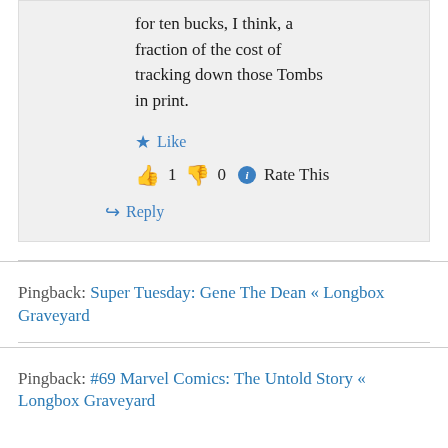for ten bucks, I think, a fraction of the cost of tracking down those Tombs in print.
★ Like
👍 1 👎 0 ℹ Rate This
↳ Reply
Pingback: Super Tuesday: Gene The Dean « Longbox Graveyard
Pingback: #69 Marvel Comics: The Untold Story « Longbox Graveyard